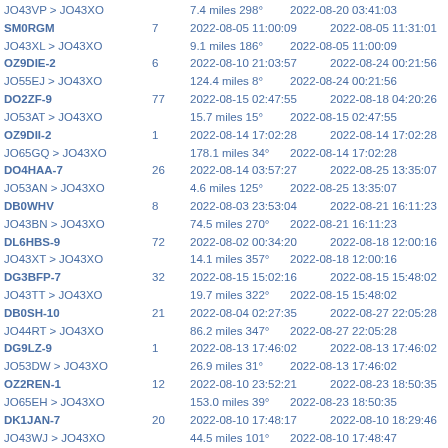JO43VP > JO43XO   7.4 miles 298°   2022-08-20 03:41:03
SM0RGM   7   2022-08-05 11:00:09   2022-08-05 11:31:01
JO43XL > JO43XO   9.1 miles 186°   2022-08-05 11:00:09
OZ9DIE-2   6   2022-08-10 21:03:57   2022-08-24 00:21:56
JO55EJ > JO43XO   124.4 miles 8°   2022-08-24 00:21:56
DO2ZF-9   77   2022-08-15 02:47:55   2022-08-18 04:20:26
JO53AT > JO43XO   15.7 miles 15°   2022-08-15 02:47:55
OZ9DII-2   1   2022-08-14 17:02:28   2022-08-14 17:02:28
JO65GQ > JO43XO   178.1 miles 34°   2022-08-14 17:02:28
DO4HAA-7   26   2022-08-14 03:57:27   2022-08-25 13:35:07
JO53AN > JO43XO   4.6 miles 125°   2022-08-25 13:35:07
DB0WHV   8   2022-08-03 23:53:04   2022-08-21 16:11:23
JO43BN > JO43XO   74.5 miles 270°   2022-08-21 16:11:23
DL6HBS-9   72   2022-08-02 00:34:20   2022-08-18 12:00:16
JO43XT > JO43XO   14.1 miles 357°   2022-08-18 12:00:16
DG3BFP-7   32   2022-08-15 15:02:16   2022-08-15 15:48:02
JO43TT > JO43XO   19.7 miles 322°   2022-08-15 15:48:02
DB0SH-10   21   2022-08-04 02:27:35   2022-08-27 22:05:28
JO44RT > JO43XO   86.2 miles 347°   2022-08-27 22:05:28
DG9LZ-9   1   2022-08-13 17:46:02   2022-08-13 17:46:02
JO53DW > JO43XO   26.9 miles 31°   2022-08-13 17:46:02
OZ2REN-1   12   2022-08-10 23:52:21   2022-08-23 18:50:35
JO65EH > JO43XO   153.0 miles 39°   2022-08-23 18:50:35
DK1JAN-7   20   2022-08-10 17:48:17   2022-08-10 18:29:46
JO43WJ > JO43XO   44.5 miles 101°   2022-08-10 17:48:17